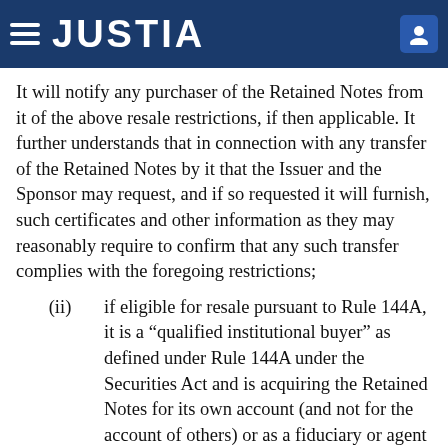JUSTIA
It will notify any purchaser of the Retained Notes from it of the above resale restrictions, if then applicable. It further understands that in connection with any transfer of the Retained Notes by it that the Issuer and the Sponsor may request, and if so requested it will furnish, such certificates and other information as they may reasonably require to confirm that any such transfer complies with the foregoing restrictions;
(ii) if eligible for resale pursuant to Rule 144A, it is a “qualified institutional buyer” as defined under Rule 144A under the Securities Act and is acquiring the Retained Notes for its own account (and not for the account of others) or as a fiduciary or agent for others (which others also are “qualified institutional buyers”). It is familiar